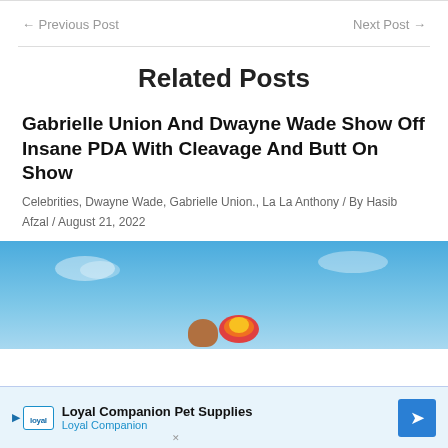← Previous Post    Next Post →
Related Posts
Gabrielle Union And Dwayne Wade Show Off Insane PDA With Cleavage And Butt On Show
Celebrities, Dwayne Wade, Gabrielle Union., La La Anthony / By Hasib Afzal / August 21, 2022
[Figure (photo): Photo related to the article showing sky background with figures]
Loyal Companion Pet Supplies Loyal Companion